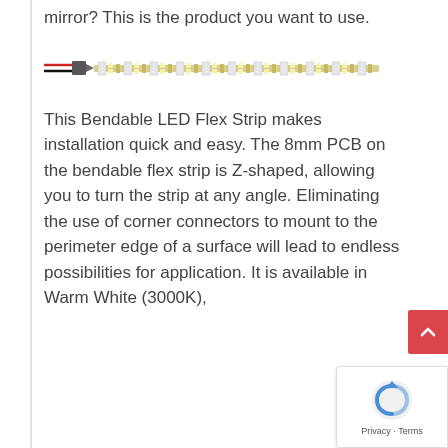mirror? This is the product you want to use.
[Figure (photo): LED flex strip product image showing a long flexible LED strip with multiple LEDs and a red/black wire connector on the left end]
This Bendable LED Flex Strip makes installation quick and easy. The 8mm PCB on the bendable flex strip is Z-shaped, allowing you to turn the strip at any angle. Eliminating the use of corner connectors to mount to the perimeter edge of a surface will lead to endless possibilities for application. It is available in Warm White (3000K),